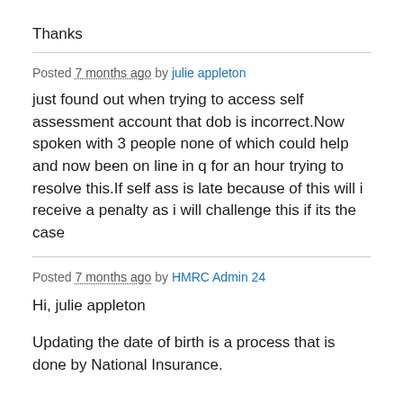Thanks
Posted 7 months ago by julie appleton
just found out when trying to access self assessment account that dob is incorrect.Now spoken with 3 people none of which could help and now been on line in q for an hour trying to resolve this.If self ass is late because of this will i receive a penalty as i will challenge this if its the case
Posted 7 months ago by HMRC Admin 24
Hi,  julie appleton
Updating the date of birth is a process that is done by National Insurance.